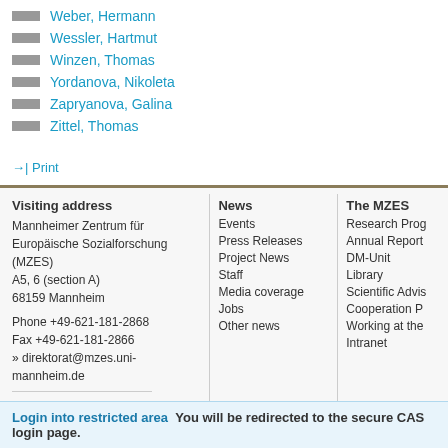Weber, Hermann
Wessler, Hartmut
Winzen, Thomas
Yordanova, Nikoleta
Zapryanova, Galina
Zittel, Thomas
→| Print
Visiting address
Mannheimer Zentrum für Europäische Sozialforschung (MZES)
A5, 6 (section A)
68159 Mannheim

Phone +49-621-181-2868
Fax +49-621-181-2866
» direktorat@mzes.uni-mannheim.de

Postal address
Universität Mannheim, MZES
68131 Mannheim, Germany
News
Events
Press Releases
Project News
Staff
Media coverage
Jobs
Other news
The MZES
Research Prog...
Annual Report...
DM-Unit
Library
Scientific Advis...
Cooperation P...
Working at the...
Intranet
Login into restricted area  You will be redirected to the secure CAS login page.